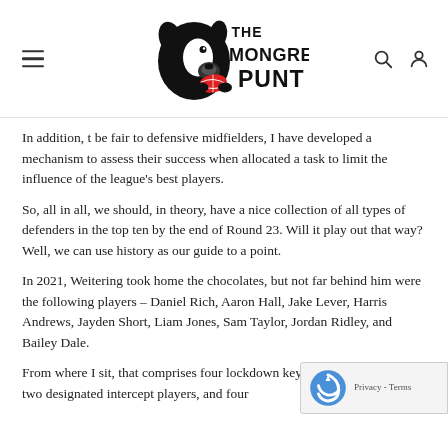The Mongrel Punt
In addition, t be fair to defensive midfielders, I have developed a mechanism to assess their success when allocated a task to limit the influence of the league's best players.
So, all in all, we should, in theory, have a nice collection of all types of defenders in the top ten by the end of Round 23. Will it play out that way? Well, we can use history as our guide to a point.
In 2021, Weitering took home the chocolates, but not far behind him were the following players – Daniel Rich, Aaron Hall, Jake Lever, Harris Andrews, Jayden Short, Liam Jones, Sam Taylor, Jordan Ridley, and Bailey Dale.
From where I sit, that comprises four lockdown key posi defenders, two designated intercept players, and four